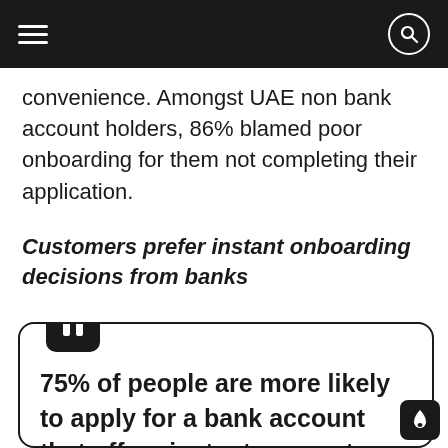convenience. Amongst UAE non bank account holders, 86% blamed poor onboarding for them not completing their application.
Customers prefer instant onboarding decisions from banks
75% of people are more likely to apply for a bank account that offers instant account opening, rather than waiting